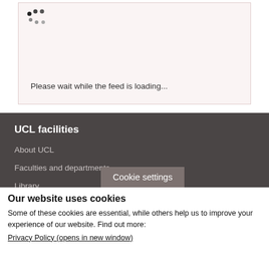[Figure (screenshot): Loading spinner dots in top-left of feed box]
Please wait while the feed is loading...
UCL facilities
About UCL
Faculties and departments
Library
Cookie settings
Our website uses cookies
Some of these cookies are essential, while others help us to improve your experience of our website. Find out more:
Privacy Policy (opens in new window)
Accept all cookies